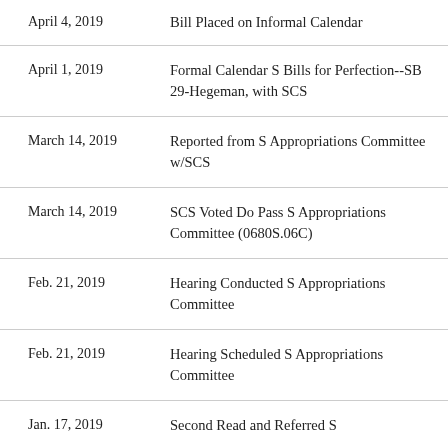| Date | Action |
| --- | --- |
| April 4, 2019 | Bill Placed on Informal Calendar |
| April 1, 2019 | Formal Calendar S Bills for Perfection--SB 29-Hegeman, with SCS |
| March 14, 2019 | Reported from S Appropriations Committee w/SCS |
| March 14, 2019 | SCS Voted Do Pass S Appropriations Committee (0680S.06C) |
| Feb. 21, 2019 | Hearing Conducted S Appropriations Committee |
| Feb. 21, 2019 | Hearing Scheduled S Appropriations Committee |
| Jan. 17, 2019 | Second Read and Referred S |